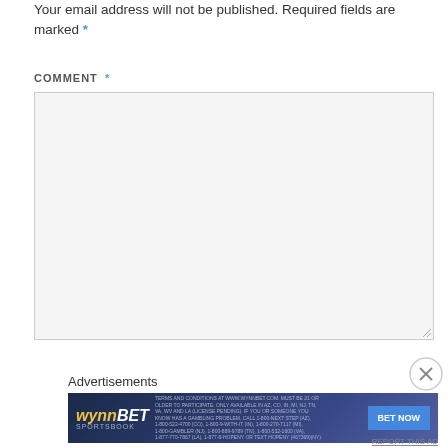Your email address will not be published. Required fields are marked *
COMMENT *
[Figure (screenshot): Empty comment text area input box with light gray background and resize handle]
[Figure (screenshot): Close/dismiss button (X circle icon)]
Advertisements
[Figure (screenshot): WynnBet Sportsbook advertisement banner with BET NOW button on dark blue background]
REPORT THIS AD